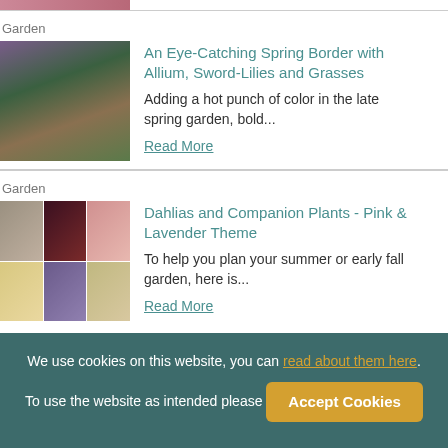[Figure (photo): Partial garden image visible at top (cropped)]
Garden
An Eye-Catching Spring Border with Allium, Sword-Lilies and Grasses
Adding a hot punch of color in the late spring garden, bold...
Read More
[Figure (photo): Garden with allium, sword-lilies and grasses]
Garden
Dahlias and Companion Plants - Pink & Lavender Theme
To help you plan your summer or early fall garden, here is...
Read More
[Figure (photo): Grid of dahlia flower images in pink and lavender tones]
We use cookies on this website, you can read about them here. To use the website as intended please
Accept Cookies